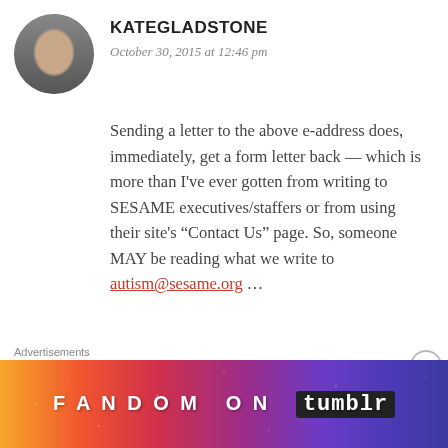[Figure (photo): Circular avatar photo of Kate Gladstone, a person shown from shoulders up]
KATEGLADSTONE
October 30, 2015 at 12:46 pm
Sending a letter to the above e-address does, immediately, get a form letter back — which is more than I've ever gotten from writing to SESAME executives/staffers or from using their site's “Contact Us” page. So, someone MAY be reading what we write to autism@sesame.org …
★ Liked by 1 person
Advertisements
[Figure (infographic): Fandom on Tumblr advertisement banner with colorful gradient background in orange, red, purple and blue with decorative icons]